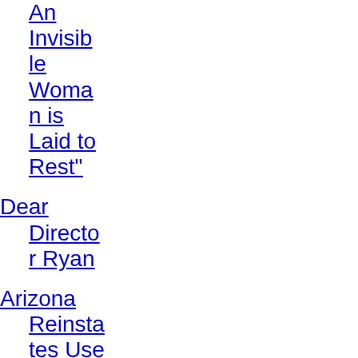An Invisible Woman is Laid to Rest"
Dear Director Ryan
Arizona Reinstates Use of Outdoor Cages
Director